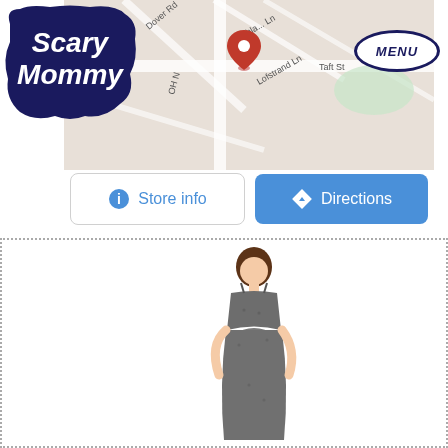[Figure (logo): Scary Mommy logo - white cursive text on dark navy blue bubbly background]
[Figure (map): Google Maps screenshot showing street map with a red location pin, streets including Dover Rd, Southland Ln, Lofstrand Ln, Taft St, OH N]
MENU
[Figure (screenshot): Two buttons: 'Store info' (white background, blue info icon, blue text) and 'Directions' (blue background, white navigation icon, white text)]
[Figure (photo): Woman wearing a gray patterned maternity slip dress with spaghetti straps and layered/flounce top, standing against white background]